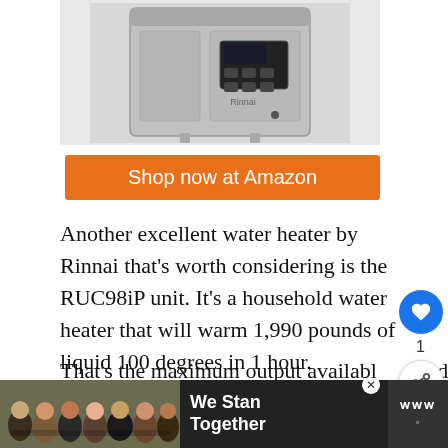[Figure (photo): Rinnai water heater unit - silver/grey tankless wall-mounted device with control panel showing buttons and display]
Shop now at Amazon
Another excellent water heater by Rinnai that's worth considering is the RUC98iP unit. It's a household water heater that will warm 1,990 pounds of liquid 100 degrees in 1 hour.
That's the maximum output available domestic water heaters. You will obtain 9.8
[Figure (screenshot): What's Next widget showing '15 Best Water Heater Bran...' with thumbnail image and progress bar]
[Figure (photo): Advertisement banner: group of people with arms around each other, text 'We Stand Together', logo on right]